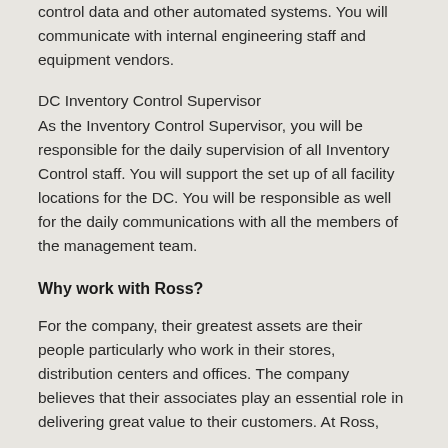control data and other automated systems. You will communicate with internal engineering staff and equipment vendors.
DC Inventory Control Supervisor
As the Inventory Control Supervisor, you will be responsible for the daily supervision of all Inventory Control staff. You will support the set up of all facility locations for the DC. You will be responsible as well for the daily communications with all the members of the management team.
Why work with Ross?
For the company, their greatest assets are their people particularly who work in their stores, distribution centers and offices. The company believes that their associates play an essential role in delivering great value to their customers. At Ross,